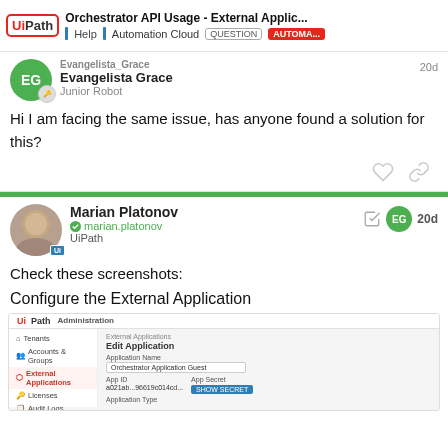Orchestrator API Usage - External Applic... | Help | Automation Cloud | QUESTION | AUTOMA...
Evangelista_Grace
Evangelista Grace
Junior Robot
Hi I am facing the same issue, has anyone found a solution for this?
Marian Platonov
marian.platonov
UiPath
Check these screenshots:
Configure the External Application
[Figure (screenshot): UiPath Orchestrator Administration page showing External Applications settings, with Edit Application form showing Application Name field with 'Orchestrator Application Guest', App ID and App Secret fields, and Application Type section.]